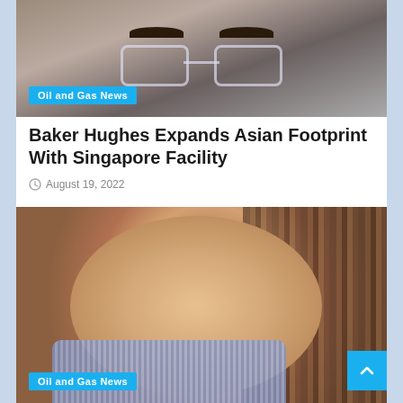[Figure (photo): Close-up photo of a person wearing glasses, partial view showing eyes and eyebrows, with an 'Oil and Gas News' badge overlay at bottom left.]
Oil and Gas News
Baker Hughes Expands Asian Footprint With Singapore Facility
August 19, 2022
[Figure (photo): Portrait photo of a bald middle-aged man smiling, wearing a blue checked shirt, with a bookshelf in the background. 'Oil and Gas News' badge at bottom left.]
Oil and Gas News